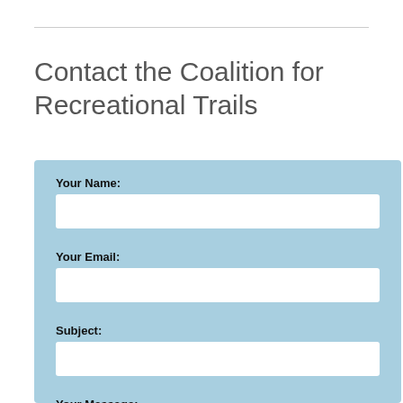Contact the Coalition for Recreational Trails
Your Name:
Your Email:
Subject:
Your Message: